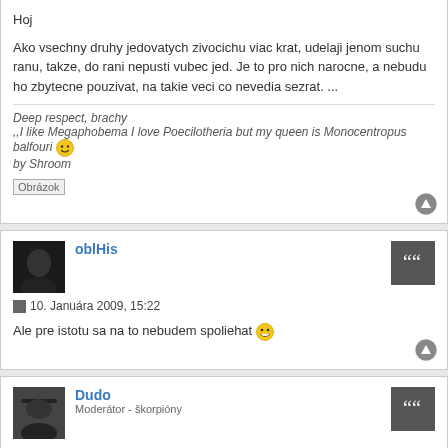Hoj
Ako vsechny druhy jedovatych zivocichu viac krat, udelaji jenom suchu ranu, takze, do rani nepusti vubec jed. Je to pro nich narocne, a nebudu ho zbytecne pouzivat, na takie veci co nevedia sezrat. ...
Deep respect, brachy
,,I like Megaphobema I love Poecilotheria but my queen is Monocentropus balfouri
by Shroom
[Figure (other): Image placeholder labeled Obrázok]
oblHis
10. Januára 2009, 15:22
Ale pre istotu sa na to nebudem spoliehat
Dudo
Moderátor - škorpióny